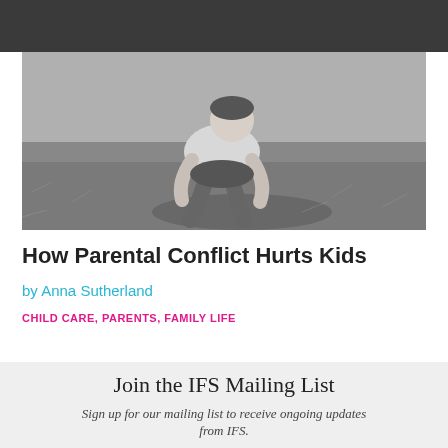IFS
[Figure (photo): Black and white photo of a child crouching on grass]
How Parental Conflict Hurts Kids
by Anna Sutherland
CHILD CARE,  PARENTS,  FAMILY LIFE
Join the IFS Mailing List
Sign up for our mailing list to receive ongoing updates from IFS.